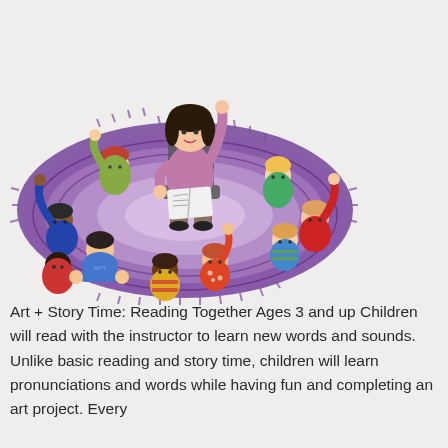[Figure (illustration): Colorful illustration of a teacher sitting on a chair reading a book to a group of young children seated on a large oval purple rug. Several children have their hands raised. The teacher wears a pink top and brown pants and has dark hair.]
Art + Story Time: Reading Together Ages 3 and up Children will read with the instructor to learn new words and sounds. Unlike basic reading and story time, children will learn pronunciations and words while having fun and completing an art project. Every